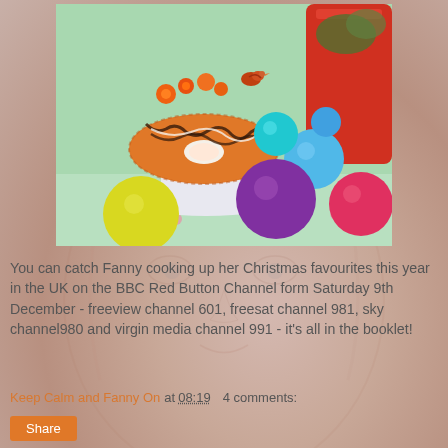[Figure (photo): A festive cake roll (Swiss roll/Yule log) decorated with chocolate shavings on a white pedestal stand, surrounded by colorful balls (yellow, blue, teal, purple, red/pink) in orange/red hues, with orange decorative flowers on top and a red vase in background, on a floral tablecloth.]
You can catch Fanny cooking up her Christmas favourites this year in the UK on the BBC Red Button Channel form Saturday 9th December - freeview channel 601, freesat channel 981, sky channel980 and virgin media channel 991 - it's all in the booklet!
Keep Calm and Fanny On at 08:19     4 comments:
Share